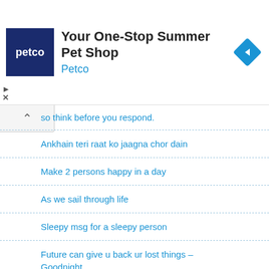[Figure (screenshot): Petco advertisement banner with logo, title 'Your One-Stop Summer Pet Shop', brand name 'Petco', and navigation icon]
so think before you respond.
Ankhain teri raat ko jaagna chor dain
Make 2 persons happy in a day
As we sail through life
Sleepy msg for a sleepy person
Future can give u back ur lost things – Goodnight
The sign of maturity